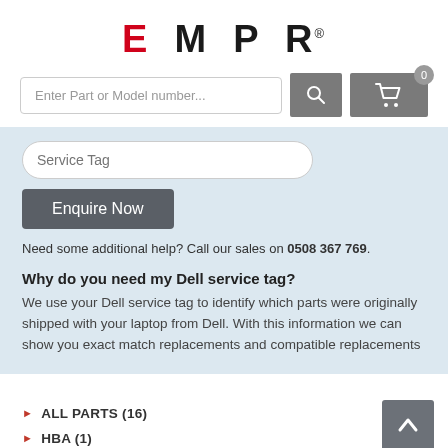[Figure (logo): EMPR logo with E in red and MPR in black, followed by registered trademark symbol]
[Figure (screenshot): Search bar with placeholder 'Enter Part or Model number...' and search button, plus shopping cart icon with badge showing 0]
Service Tag
Enquire Now
Need some additional help? Call our sales on 0508 367 769.
Why do you need my Dell service tag?
We use your Dell service tag to identify which parts were originally shipped with your laptop from Dell. With this information we can show you exact match replacements and compatible replacements
ALL PARTS (16)
HBA (1)
NETWORKING (15)